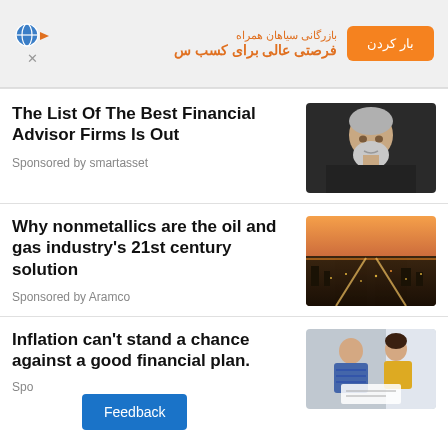[Figure (infographic): Persian-language banner advertisement with orange button on left labeled 'بار کردن', Persian text in center reading 'بازرگانی سیاهان همراه / فرصتی عالی برای کسب س', and globe/arrow icons on right]
The List Of The Best Financial Advisor Firms Is Out
Sponsored by smartasset
[Figure (photo): Portrait photo of an elderly man with white/grey hair and beard wearing a dark shirt, against a dark background]
Why nonmetallics are the oil and gas industry’s 21st century solution
Sponsored by Aramco
[Figure (photo): Aerial photo of an industrial city/refinery at dusk with lights and roads visible]
Inflation can’t stand a chance against a good financial plan.
Sponsored by smartasset
[Figure (photo): Photo of two people (a man and woman) looking at documents together, woman wearing yellow sweater]
Feedback